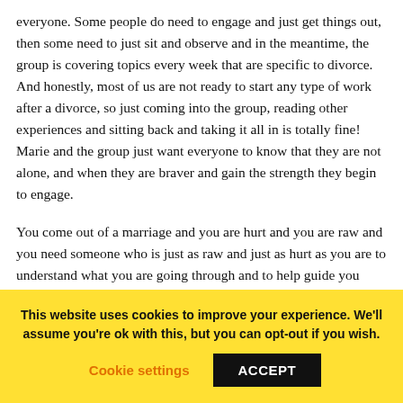everyone. Some people do need to engage and just get things out, then some need to just sit and observe and in the meantime, the group is covering topics every week that are specific to divorce.  And honestly, most of us are not ready to start any type of work after a divorce, so just coming into the group, reading other experiences and sitting back and taking it all in is totally fine!  Marie and the group just want everyone to know that they are not alone, and when they are braver and gain the strength they begin to engage.
You come out of a marriage and you are hurt and you are raw and you need someone who is just as raw and just as hurt as you are to understand what you are going through and to help guide you down the right path of the first step to do. And your
This website uses cookies to improve your experience. We'll assume you're ok with this, but you can opt-out if you wish.
Cookie settings | ACCEPT